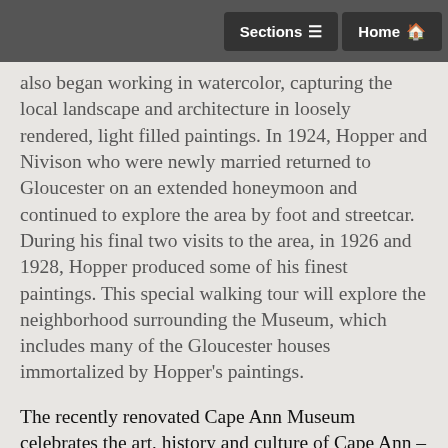Sections  Home
also began working in watercolor, capturing the local landscape and architecture in loosely rendered, light filled paintings. In 1924, Hopper and Nivison who were newly married returned to Gloucester on an extended honeymoon and continued to explore the area by foot and streetcar. During his final two visits to the area, in 1926 and 1928, Hopper produced some of his finest paintings. This special walking tour will explore the neighborhood surrounding the Museum, which includes many of the Gloucester houses immortalized by Hopper's paintings.
The recently renovated Cape Ann Museum celebrates the art, history and culture of Cape Ann – a region with a rich and varied culture of nationally significant historical, industrial and artistic achievement. The Museum's collections